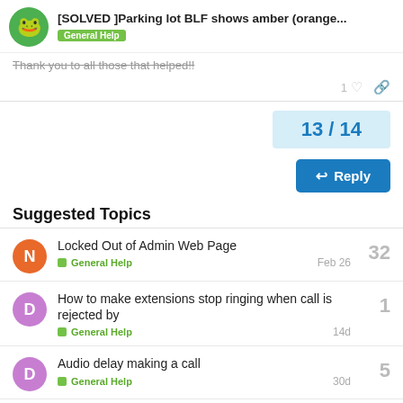[SOLVED ]Parking lot BLF shows amber (orange... — General Help
Thank you to all those that helped!!
1
13 / 14
Reply
Suggested Topics
Locked Out of Admin Web Page
General Help
32
Feb 26
How to make extensions stop ringing when call is rejected by
General Help
1
14d
Audio delay making a call
General Help
5
30d